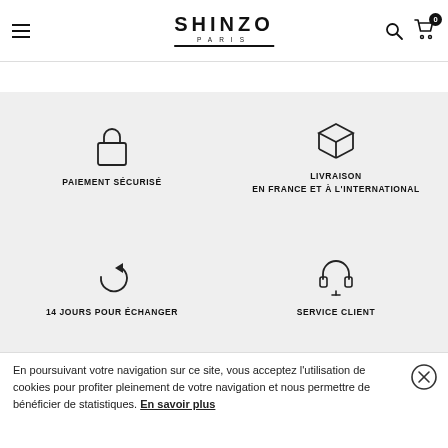SHINZO PARIS
[Figure (infographic): Four feature icons in a 2x2 grid on grey background: padlock (PAIEMENT SÉCURISÉ), box (LIVRAISON EN FRANCE ET À L'INTERNATIONAL), refresh arrow (14 JOURS POUR ÉCHANGER), headset (SERVICE CLIENT)]
En poursuivant votre navigation sur ce site, vous acceptez l'utilisation de cookies pour profiter pleinement de votre navigation et nous permettre de bénéficier de statistiques. En savoir plus